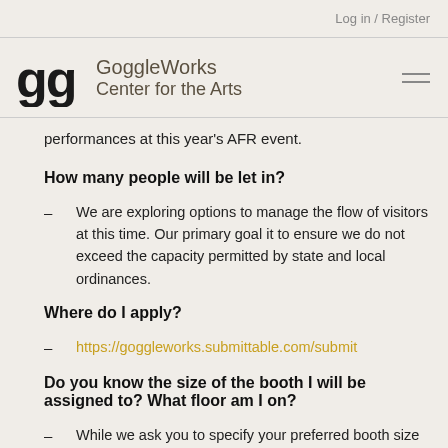Log in / Register
[Figure (logo): GoggleWorks Center for the Arts logo with stylized 'gg' letterform and brand name text]
performances at this year's AFR event.
How many people will be let in?
We are exploring options to manage the flow of visitors at this time. Our primary goal it to ensure we do not exceed the capacity permitted by state and local ordinances.
Where do I apply?
https://goggleworks.submittable.com/submit
Do you know the size of the booth I will be assigned to? What floor am I on?
While we ask you to specify your preferred booth size once accepted, booth placement